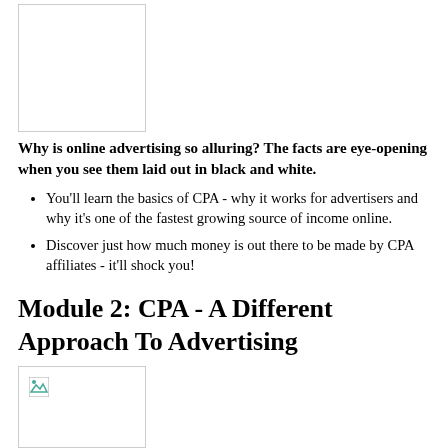[Figure (other): Blank placeholder image at top of page]
Why is online advertising so alluring? The facts are eye-opening when you see them laid out in black and white.
You'll learn the basics of CPA - why it works for advertisers and why it's one of the fastest growing source of income online.
Discover just how much money is out there to be made by CPA affiliates - it'll shock you!
Module 2: CPA - A Different Approach To Advertising
[Figure (other): Placeholder image at bottom with small icon]